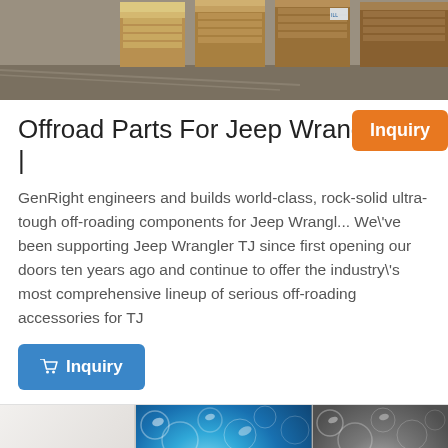[Figure (photo): Warehouse photo showing stacked wooden pallets or crates in a storage facility with a concrete floor]
Offroad Parts For Jeep Wrangler TJ |
GenRight engineers and builds world-class, rock-solid ultra-tough off-roading components for Jeep Wrangler. We've been supporting Jeep Wrangler TJ since first opening our doors ten years ago and continue to offer the industry's most comprehensive lineup of serious off-roading accessories for TJ
[Figure (photo): Close-up photo showing three different surface textures side by side: smooth white/beige on the left, blue pebbled/hammered texture in the middle, and grey pebbled/hammered texture on the right]